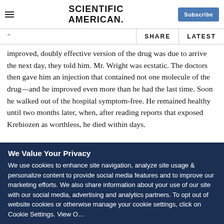Scientific American — Subscribe
improved, doubly effective version of the drug was due to arrive the next day, they told him. Mr. Wright was ecstatic. The doctors then gave him an injection that contained not one molecule of the drug—and he improved even more than he had the last time. Soon he walked out of the hospital symptom-free. He remained healthy until two months later, when, after reading reports that exposed Krebiozen as worthless, he died within days.
We Value Your Privacy
We use cookies to enhance site navigation, analyze site usage & personalize content to provide social media features and to improve our marketing efforts. We also share information about your use of our site with our social media, advertising and analytics partners. To opt out of website cookies or otherwise manage your cookie settings, click on Cookie Settings. View O…